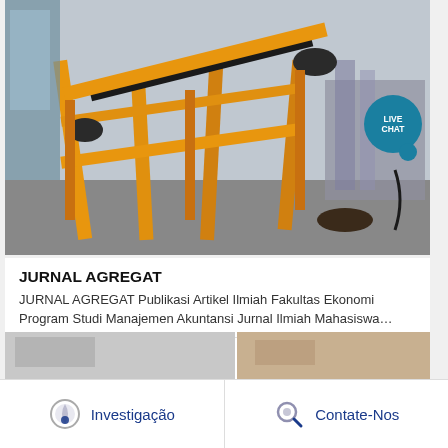[Figure (photo): Industrial orange conveyor belt machine on a factory floor]
JURNAL AGREGAT
JURNAL AGREGAT Publikasi Artikel Ilmiah Fakultas Ekonomi Program Studi Manajemen Akuntansi Jurnal Ilmiah Mahasiswa…
OBTER PREÇO
[Figure (photo): Partial view of next item images]
Investigação
Contate-Nos